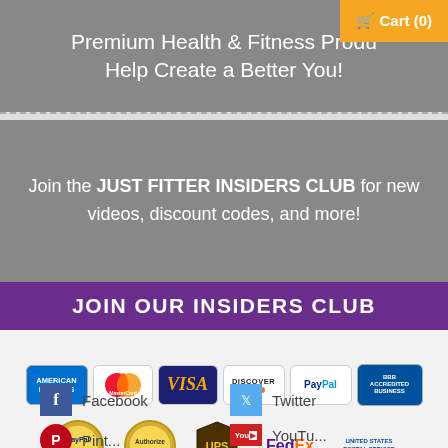Premium Health & Fitness Products Help Create a Better You!
Cart (0)
Join the JUST FITTER INSIDERS CLUB for new videos, discount codes, and more!
JOIN OUR INSIDERS CLUB
[Figure (logo): Payment and trust badges: American Express, MasterCard, Visa, Discover, PayPal, BBB Accredited Business, PayPal Verified, Authorize.Net, UPS, FedEx, USPS]
Facebook
Twitter
Pinterest
YouTube